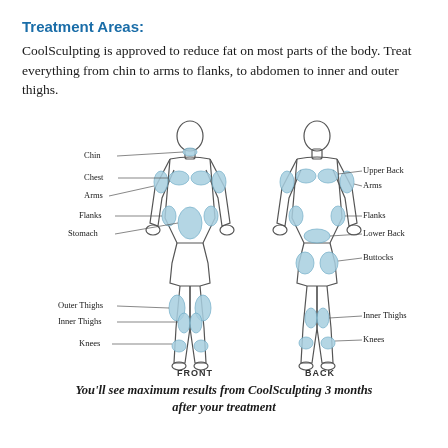Treatment Areas:
CoolSculpting is approved to reduce fat on most parts of the body. Treat everything from chin to arms to flanks, to abdomen to inner and outer thighs.
[Figure (illustration): Front and back view of a human body outline with blue highlighted treatment areas labeled: Chin, Chest, Arms, Flanks, Stomach, Outer Thighs, Inner Thighs, Knees on the front view; Upper Back, Arms, Flanks, Lower Back, Buttocks, Inner Thighs, Knees on the back view. Labels FRONT and BACK appear below each figure.]
You'll see maximum results from CoolSculpting 3 months after your treatment